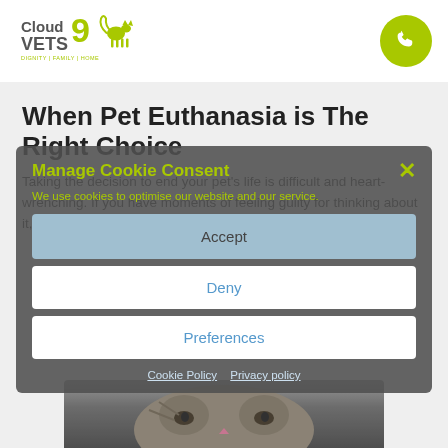[Figure (logo): Cloud 9 Vets logo with stylized dog/cat illustration and tagline DIGNITY | FAMILY | HOME]
[Figure (illustration): Green circle phone button in top right corner]
When Pet Euthanasia is The Right Choice
Taking the decision to end your pet's life is difficult and heart-wrenching. If you have moments of feeling guilty for thinking about it, rest assured that [...]
Read more
Manage Cookie Consent
We use cookies to optimise our website and our service.
Accept
Deny
Preferences
Cookie Policy   Privacy policy
[Figure (photo): Cat photo visible at bottom of page behind cookie consent dialog]